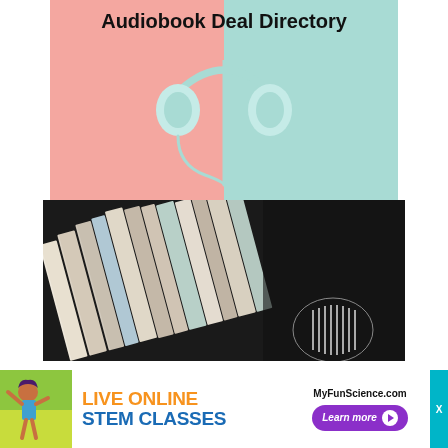[Figure (illustration): Audiobook Deal Directory graphic: split background (left pink, right mint/teal) with white/mint headphones hanging centered, black bold text 'Audiobook Deal Directory' at the top]
[Figure (photo): Dark-toned photo of colorful books stacked and fanned out with spines showing, dark background, partial circular logo visible at bottom right]
[Figure (infographic): Advertisement banner: green/yellow illustrated background on left with a cartoon girl jumping, orange and blue text 'LIVE ONLINE STEM CLASSES', right side shows MyFunScience.com URL and a purple 'Learn more' button with arrow]